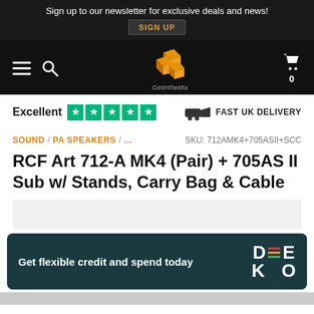Sign up to our newsletter for exclusive deals and news! SIGN UP
[Figure (logo): GetintheMix logo - orange 3D block letters on black background with text 'GetintheMix' below]
Excellent ★★★★★   FAST UK DELIVERY
SOUND / PA SPEAKERS / ...   SKU: 712AMK4+705ASII+SCC
RCF Art 712-A MK4 (Pair) + 705AS II Sub w/ Stands, Carry Bag & Cable
Get flexible credit and spend today